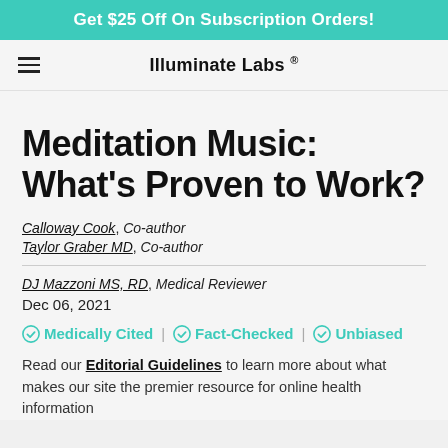Get $25 Off On Subscription Orders!
Illuminate Labs®
Meditation Music: What's Proven to Work?
Calloway Cook, Co-author
Taylor Graber MD, Co-author
DJ Mazzoni MS, RD, Medical Reviewer
Dec 06, 2021
✓ Medically Cited | ✓ Fact-Checked | ✓ Unbiased
Read our Editorial Guidelines to learn more about what makes our site the premier resource for online health information